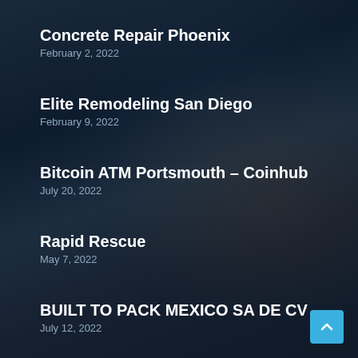Concrete Repair Phoenix
February 2, 2022
Elite Remodeling San Diego
February 9, 2022
Bitcoin ATM Portsmouth – Coinhub
July 20, 2022
Rapid Rescue
May 7, 2022
BUILT TO PACK MEXICO SA DE CV
July 12, 2022